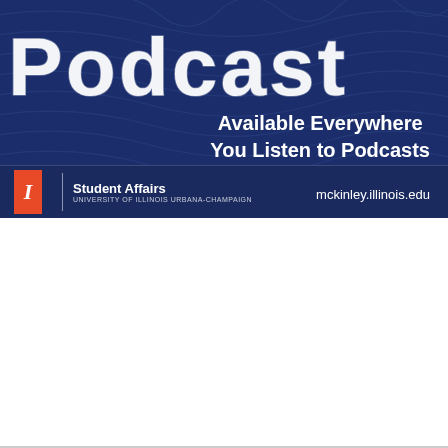[Figure (illustration): Dark navy blue podcast advertisement banner with wavy line background pattern. Large white 'Podcast' text in top-left, bold white text 'Available Everywhere You Listen to Podcasts' in center-right. Bottom bar shows University of Illinois block I logo in orange, 'Student Affairs / University of Illinois Urbana-Champaign' text, and 'mckinley.illinois.edu' URL on the right.]
[Figure (screenshot): Light gray web page section showing a chevron/caret up arrow icon at top center, followed by two card/thumbnail elements side by side with light backgrounds, appearing to be partially loaded or blurred content cards.]